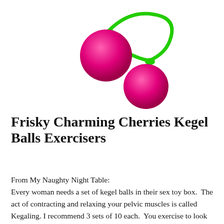[Figure (illustration): Two pink/magenta spherical kegel balls connected by a bright green curved stem/cord, resembling cherries. The larger ball is on the upper-left and the smaller ball hangs lower-right.]
Frisky Charming Cherries Kegel Balls Exercisers
From My Naughty Night Table:
Every woman needs a set of kegel balls in their sex toy box.  The act of contracting and relaxing your pelvic muscles is called Kegaling. I recommend 3 sets of 10 each.  You exercise to look and feel good.